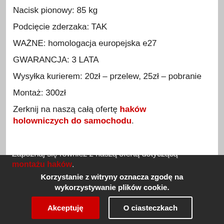Nacisk pionowy: 85 kg
Podcięcie zderzaka: TAK
WAŻNE: homologacja europejska e27
GWARANCJA: 3 LATA
Wysyłka kurierem: 20zł – przelew, 25zł – pobranie
Montaż: 300zł
Zerknij na naszą całą ofertę haków holowniczych do samochodu.
Zapoznaj się również z naszą ofertą dotyczącą montażu haków.
Korzystanie z witryny oznacza zgodę na wykorzystywanie plików cookie.
Akceptuję
O ciasteczkach